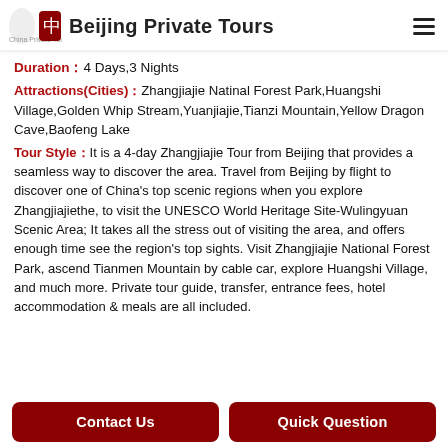Beijing Private Tours
Duration：4 Days,3 Nights
Attractions(Cities)：Zhangjiajie Natinal Forest Park,Huangshi Village,Golden Whip Stream,Yuanjiajie,Tianzi Mountain,Yellow Dragon Cave,Baofeng Lake
Tour Style：It is a 4-day Zhangjiajie Tour from Beijing that provides a seamless way to discover the area. Travel from Beijing by flight to discover one of China's top scenic regions when you explore Zhangjiajiethe, to visit the UNESCO World Heritage Site-Wulingyuan Scenic Area; It takes all the stress out of visiting the area, and offers enough time see the region's top sights. Visit Zhangjiajie National Forest Park, ascend Tianmen Mountain by cable car, explore Huangshi Village, and much more. Private tour guide, transfer, entrance fees, hotel accommodation & meals are all included.
Contact Us
Quick Question